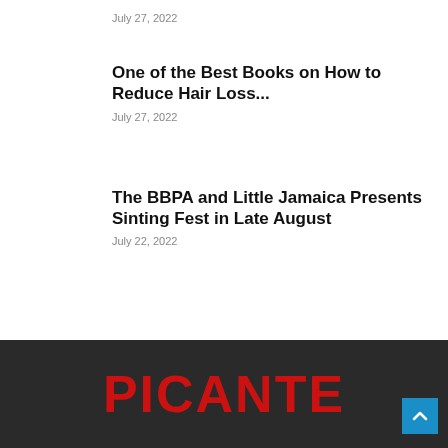July 27, 2022
One of the Best Books on How to Reduce Hair Loss...
July 27, 2022
The BBPA and Little Jamaica Presents Sinting Fest in Late August
July 22, 2022
PICANTE